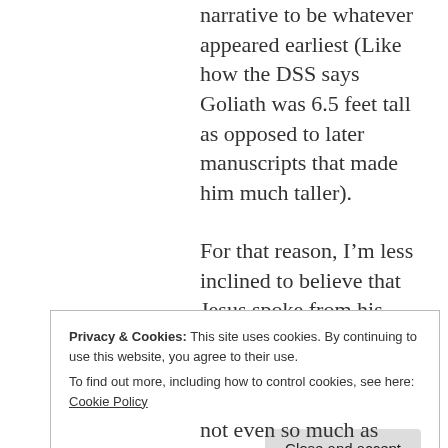narrative to be whatever appeared earliest (Like how the DSS says Goliath was 6.5 feet tall as opposed to later manuscripts that made him much taller).
For that reason, I’m less inclined to believe that Jesus spoke from his cradle, that Abraham was thrown into Nimrod’s furnace or that Enoch went on his fantastic
Privacy & Cookies: This site uses cookies. By continuing to use this website, you agree to their use.
To find out more, including how to control cookies, see here: Cookie Policy
not even so much as hinted